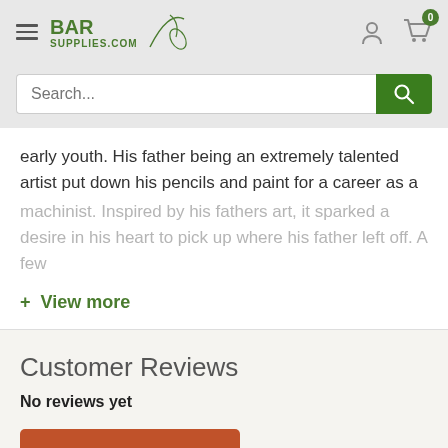BAR SUPPLIES.COM
early youth. His father being an extremely talented artist put down his pencils and paint for a career as a machinist. Inspired by his fathers art, it sparked a desire in his heart to pick up where his father left off. A few
+ View more
Customer Reviews
No reviews yet
Write a review